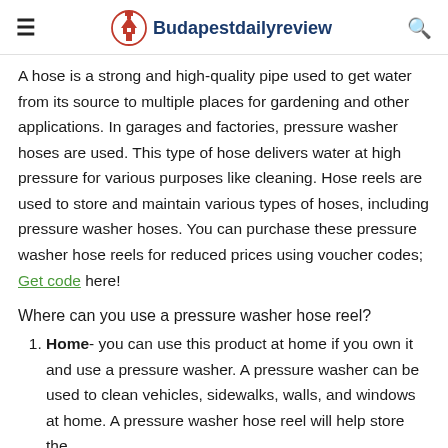Budapestdailyreview
A hose is a strong and high-quality pipe used to get water from its source to multiple places for gardening and other applications. In garages and factories, pressure washer hoses are used. This type of hose delivers water at high pressure for various purposes like cleaning. Hose reels are used to store and maintain various types of hoses, including pressure washer hoses. You can purchase these pressure washer hose reels for reduced prices using voucher codes; Get code here!
Where can you use a pressure washer hose reel?
Home- you can use this product at home if you own it and use a pressure washer. A pressure washer can be used to clean vehicles, sidewalks, walls, and windows at home. A pressure washer hose reel will help store the